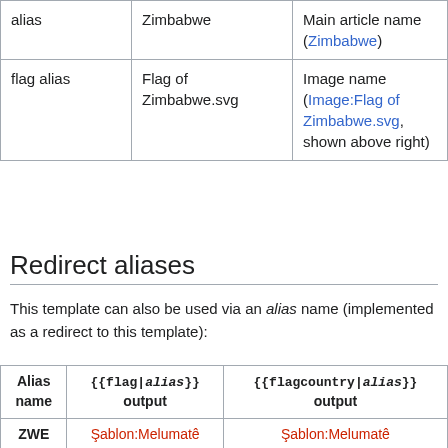|  |  |  |
| --- | --- | --- |
| alias | Zimbabwe | Main article name (Zimbabwe) |
| flag alias | Flag of Zimbabwe.svg | Image name (Image:Flag of Zimbabwe.svg, shown above right) |
Redirect aliases
This template can also be used via an alias name (implemented as a redirect to this template):
| Alias name | {{flag|alias}} output | {{flagcountry|alias}} output |
| --- | --- | --- |
| ZWE | Şablon:Melumatê | Şablon:Melumatê |